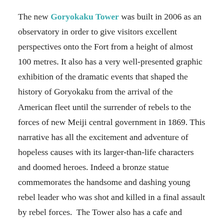The new Goryokaku Tower was built in 2006 as an observatory in order to give visitors excellent perspectives onto the Fort from a height of almost 100 metres. It also has a very well-presented graphic exhibition of the dramatic events that shaped the history of Goryokaku from the arrival of the American fleet until the surrender of rebels to the forces of new Meiji central government in 1869. This narrative has all the excitement and adventure of hopeless causes with its larger-than-life characters and doomed heroes. Indeed a bronze statue commemorates the handsome and dashing young rebel leader who was shot and killed in a final assault by rebel forces.  The Tower also has a cafe and Observatory shop.
Well worth a visit is the reconstructed Hakodate Magistrate's Office (Hakodate Bugyosho) in the Fort's grounds. The original office was the Edo...